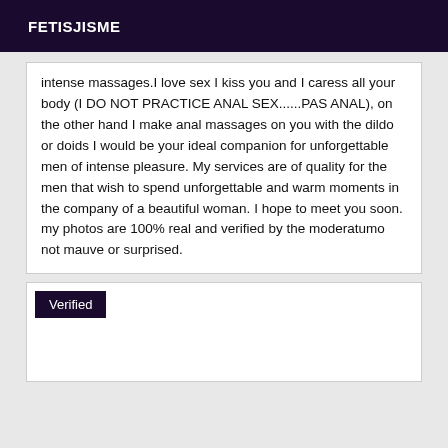FETISJISME
intense massages.I love sex I kiss you and I caress all your body (I DO NOT PRACTICE ANAL SEX......PAS ANAL), on the other hand I make anal massages on you with the dildo or doids I would be your ideal companion for unforgettable men of intense pleasure. My services are of quality for the men that wish to spend unforgettable and warm moments in the company of a beautiful woman. I hope to meet you soon. my photos are 100% real and verified by the moderatumo not mauve or surprised.
Verified